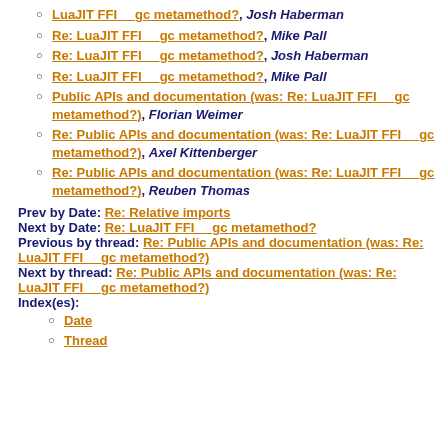LuaJIT FFI __gc metamethod?, Josh Haberman
Re: LuaJIT FFI __gc metamethod?, Mike Pall
Re: LuaJIT FFI __gc metamethod?, Josh Haberman
Re: LuaJIT FFI __gc metamethod?, Mike Pall
Public APIs and documentation (was: Re: LuaJIT FFI __gc metamethod?), Florian Weimer
Re: Public APIs and documentation (was: Re: LuaJIT FFI __gc metamethod?), Axel Kittenberger
Re: Public APIs and documentation (was: Re: LuaJIT FFI __gc metamethod?), Reuben Thomas
Prev by Date: Re: Relative imports
Next by Date: Re: LuaJIT FFI __gc metamethod?
Previous by thread: Re: Public APIs and documentation (was: Re: LuaJIT FFI __gc metamethod?)
Next by thread: Re: Public APIs and documentation (was: Re: LuaJIT FFI __gc metamethod?)
Index(es):
Date
Thread